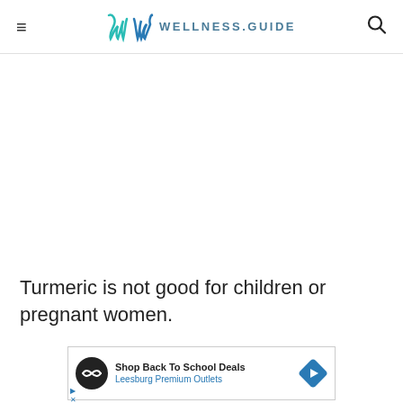WELLNESS.GUIDE
Turmeric is not good for children or pregnant women.
[Figure (screenshot): Advertisement banner: Shop Back To School Deals – Leesburg Premium Outlets, with circular dark logo icon and diamond navigation arrow icon]